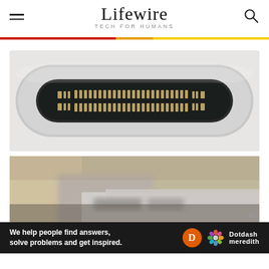Lifewire — TECH FOR HUMANS
[Figure (photo): Close-up macro photograph of a USB-C port connector showing the internal gold pins on both rows inside a dark oval-shaped receptacle with silver metallic outer housing]
[Figure (photo): Blurry/out-of-focus photograph of what appears to be a camera or device with a USB/connector port visible, with a cardboard box blurred in background]
We help people find answers, solve problems and get inspired.
[Figure (logo): Dotdash Meredith logo with orange D circle and colorful flower/gear icon]